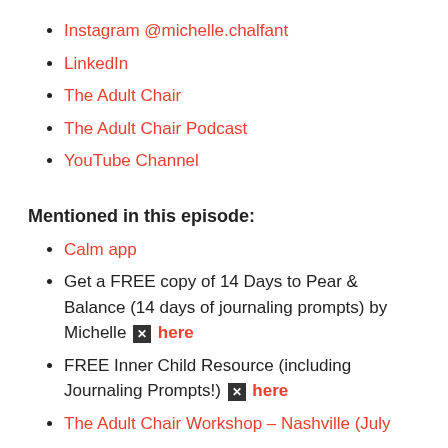Instagram @michelle.chalfant
LinkedIn
The Adult Chair
The Adult Chair Podcast
YouTube Channel
Mentioned in this episode:
Calm app
Get a FREE copy of 14 Days to Pear & Balance (14 days of journaling prompts) by Michelle ✕ here
FREE Inner Child Resource (including Journaling Prompts!) ✕ here
The Adult Chair Workshop – Nashville (July